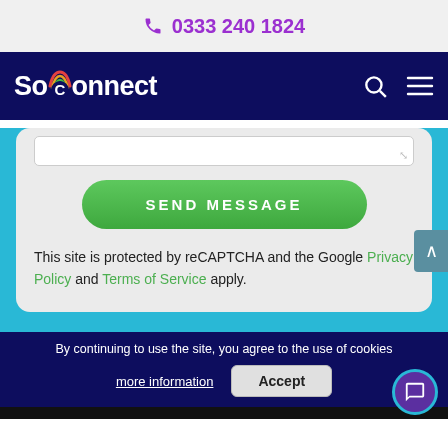0333 240 1824
[Figure (screenshot): SoConnect website navigation bar with logo, search icon and hamburger menu on dark navy background]
[Figure (screenshot): Contact form with Send Message button (green), reCAPTCHA notice, and Privacy Policy / Terms of Service links on a light grey card with cyan background]
This site is protected by reCAPTCHA and the Google Privacy Policy and Terms of Service apply.
By continuing to use the site, you agree to the use of cookies
more information
Accept